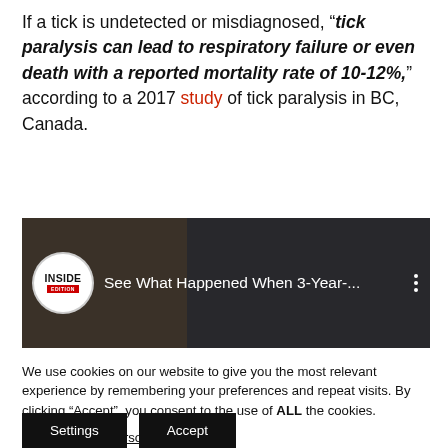If a tick is undetected or misdiagnosed, "tick paralysis can lead to respiratory failure or even death with a reported mortality rate of 10-12%," according to a 2017 study of tick paralysis in BC, Canada.
[Figure (screenshot): YouTube video thumbnail from Inside Edition titled 'See What Happened When 3-Year-...' showing two people in a dark background]
We use cookies on our website to give you the most relevant experience by remembering your preferences and repeat visits. By clicking "Accept", you consent to the use of ALL the cookies.
Do not sell my personal information.